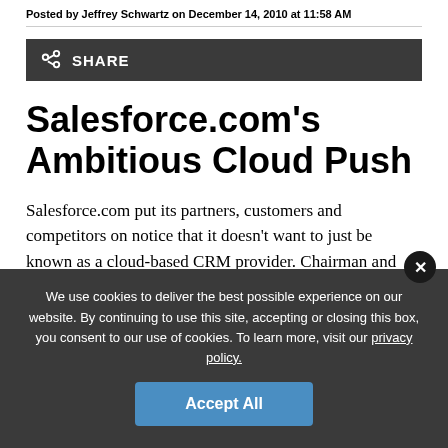Posted by Jeffrey Schwartz on December 14, 2010 at 11:58 AM
Salesforce.com's Ambitious Cloud Push
Salesforce.com put its partners, customers and competitors on notice that it doesn't want to just be known as a cloud-based CRM provider. Chairman and CEO Marc Benioff wants his company to play in
We use cookies to deliver the best possible experience on our website. By continuing to use this site, accepting or closing this box, you consent to our use of cookies. To learn more, visit our privacy policy.